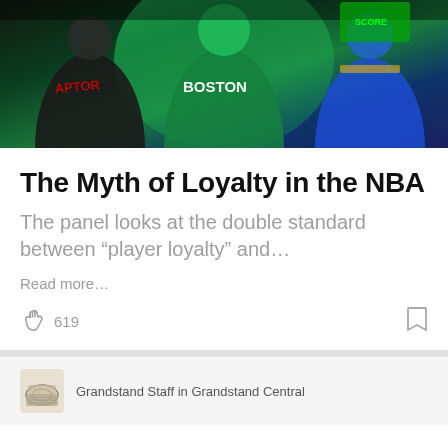[Figure (photo): NBA players wearing Raptors, Boston Celtics, and Golden State Warriors uniforms with dramatic lighting and green/blue color overlay]
The Myth of Loyalty in the NBA
The panel looks at the double standard between “player loyalty” and…
Read more…
619
[Figure (logo): Grandstand publication logo icon]
Grandstand Staff in Grandstand Central